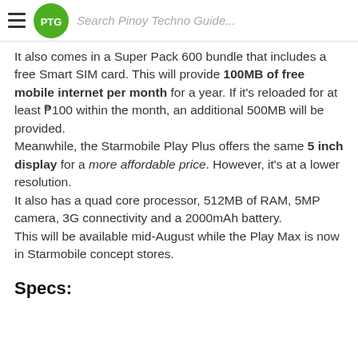PTG — Search Pinoy Techno Guide...
It also comes in a Super Pack 600 bundle that includes a free Smart SIM card. This will provide 100MB of free mobile internet per month for a year. If it's reloaded for at least ₱100 within the month, an additional 500MB will be provided.
Meanwhile, the Starmobile Play Plus offers the same 5 inch display for a more affordable price. However, it's at a lower resolution.
It also has a quad core processor, 512MB of RAM, 5MP camera, 3G connectivity and a 2000mAh battery.
This will be available mid-August while the Play Max is now in Starmobile concept stores.
Specs: